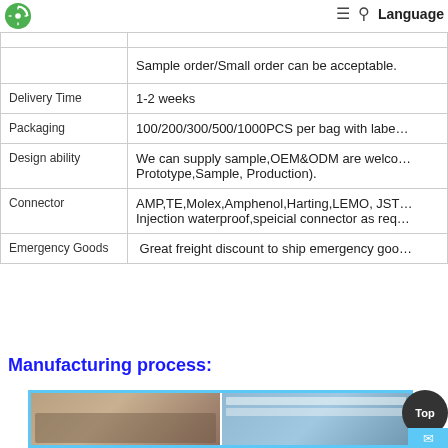Language
| Field | Value |
| --- | --- |
|  | CE factory certificate of compliance |
|  | Sample order/Small order can be acceptable. |
| Delivery Time | 1-2 weeks |
| Packaging | 100/200/300/500/1000PCS per bag with label |
| Design ability | We can supply sample,OEM&ODM are welcome(Prototype,Sample, Production). |
| Connector | AMP,TE,Molex,Amphenol,Harting,LEMO, JST Injection waterproof,speicial connector as req |
| Emergency Goods | Great freight discount to ship emergency goods |
Manufacturing process:
[Figure (photo): Two factory floor photos showing manufacturing equipment and workers]